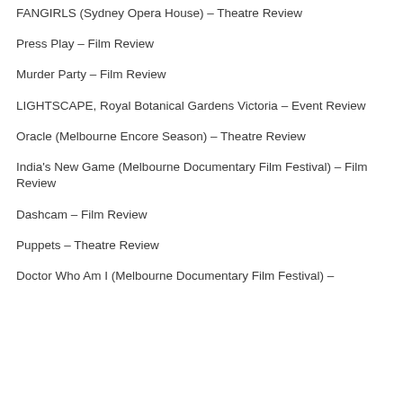FANGIRLS (Sydney Opera House) – Theatre Review
Press Play – Film Review
Murder Party – Film Review
LIGHTSCAPE, Royal Botanical Gardens Victoria – Event Review
Oracle (Melbourne Encore Season) – Theatre Review
India's New Game (Melbourne Documentary Film Festival) – Film Review
Dashcam – Film Review
Puppets – Theatre Review
Doctor Who Am I (Melbourne Documentary Film Festival) –